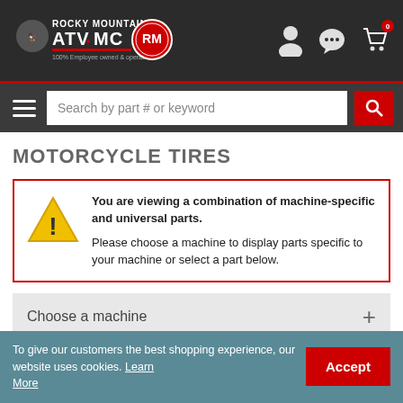[Figure (logo): Rocky Mountain ATV MC logo with '100% Employee owned & operated' tagline and circular RM badge]
Search by part # or keyword
MOTORCYCLE TIRES
You are viewing a combination of machine-specific and universal parts. Please choose a machine to display parts specific to your machine or select a part below.
Choose a machine
To give our customers the best shopping experience, our website uses cookies. Learn More
Accept